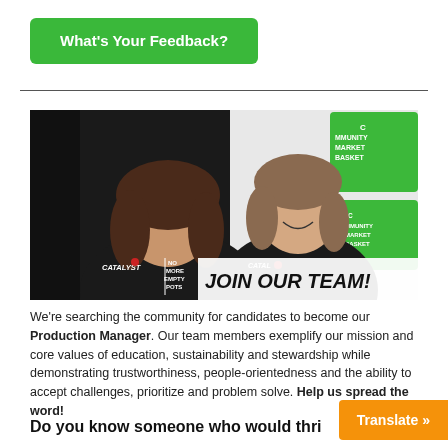What's Your Feedback?
[Figure (photo): Two women smiling and wearing black t-shirts with 'CATALYST | NO MORE EMPTY POTS' branding, standing in front of a backdrop with 'Community Market Basket' green logos. Text overlay reads 'JOIN OUR TEAM!']
We're searching the community for candidates to become our Production Manager. Our team members exemplify our mission and core values of education, sustainability and stewardship while demonstrating trustworthiness, people-orientedness and the ability to accept challenges, prioritize and problem solve. Help us spread the word!
Do you know someone who would thri...